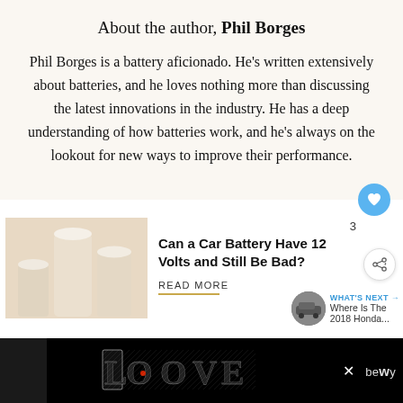About the author, Phil Borges
Phil Borges is a battery aficionado. He's written extensively about batteries, and he loves nothing more than discussing the latest innovations in the industry. He has a deep understanding of how batteries work, and he's always on the lookout for new ways to improve their performance.
Can a Car Battery Have 12 Volts and Still Be Bad?
READ MORE
WHAT'S NEXT → Where Is The 2018 Honda...
[Figure (photo): Three white cylindrical columns of varying heights against a beige background]
[Figure (photo): Small circular car image thumbnail]
[Figure (other): Advertisement banner: LOOVE text art logo with decorative black and white lettering, X close button, and partial text on right side]